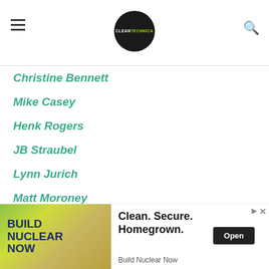CLEANTECHNICA (logo)
Christine Bennett
Mike Casey
Henk Rogers
JB Straubel
Lynn Jurich
Matt Moroney
Kyle Field
Paul Francis
Chelsea Harder
…Jurgens
[Figure (screenshot): Advertisement banner: 'Build Nuclear Now' with text 'Clean. Secure. Homegrown.' and an Open button]